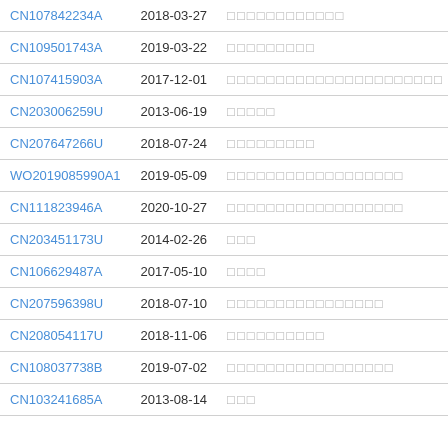| Patent ID | Date | Title |
| --- | --- | --- |
| CN107842234A | 2018-03-27 | □□□□□□□□□□□□ |
| CN109501743A | 2019-03-22 | □□□□□□□□□ |
| CN107415903A | 2017-12-01 | □□□□□□□□□□□□□□□□□□□□□□ |
| CN203006259U | 2013-06-19 | □□□□□ |
| CN207647266U | 2018-07-24 | □□□□□□□□□ |
| WO2019085990A1 | 2019-05-09 | □□□□□□□□□□□□□□□□□□ |
| CN111823946A | 2020-10-27 | □□□□□□□□□□□□□□□□□□ |
| CN203451173U | 2014-02-26 | □□□ |
| CN106629487A | 2017-05-10 | □□□□ |
| CN207596398U | 2018-07-10 | □□□□□□□□□□□□□□□□ |
| CN208054117U | 2018-11-06 | □□□□□□□□□□ |
| CN108037738B | 2019-07-02 | □□□□□□□□□□□□□□□□□ |
| CN103241685A | 2013-08-14 | □□□ |